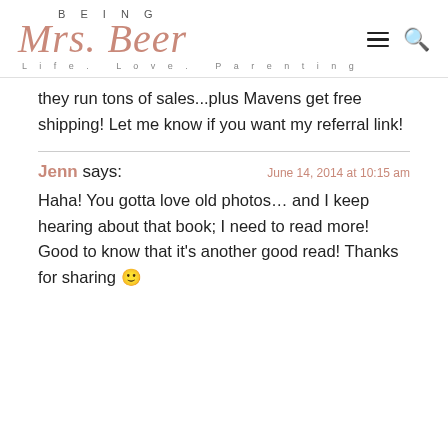BEING Mrs. Beer Life. Love. Parenting
they run tons of sales...plus Mavens get free shipping! Let me know if you want my referral link!
Jenn says: June 14, 2014 at 10:15 am

Haha! You gotta love old photos… and I keep hearing about that book; I need to read more! Good to know that it's another good read! Thanks for sharing 🙂